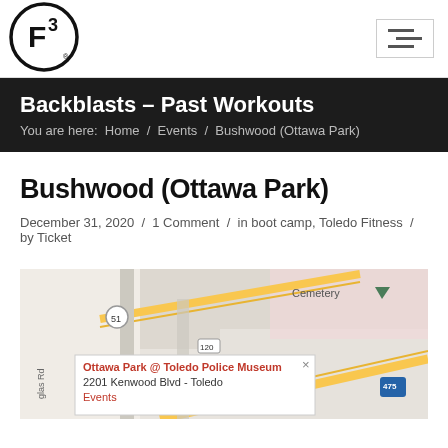[Figure (logo): F3 logo — letter F and superscript 3 inside a bold circle with registered trademark symbol]
Backblasts – Past Workouts
You are here: Home / Events / Bushwood (Ottawa Park)
Bushwood (Ottawa Park)
December 31, 2020  /  1 Comment  /  in boot camp, Toledo Fitness  /  by Ticket
[Figure (map): Google Maps screenshot showing Ottawa Park @ Toledo Police Museum, 2201 Kenwood Blvd - Toledo. Map shows route 51, cemetery label, highway 475, and a white info popup box with address details.]